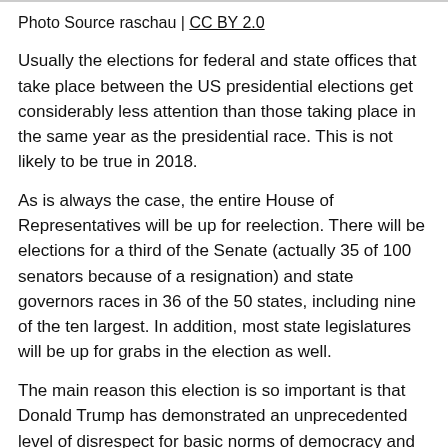Photo Source raschau | CC BY 2.0
Usually the elections for federal and state offices that take place between the US presidential elections get considerably less attention than those taking place in the same year as the presidential race. This is not likely to be true in 2018.
As is always the case, the entire House of Representatives will be up for reelection. There will be elections for a third of the Senate (actually 35 of 100 senators because of a resignation) and state governors races in 36 of the 50 states, including nine of the ten largest. In addition, most state legislatures will be up for grabs in the election as well.
The main reason this election is so important is that Donald Trump has demonstrated an unprecedented level of disrespect for basic norms of democracy and the rule of law. Republicans in Congress, with almost no exceptions, have been willing to go along in his abuses of power. If the Republicans manage to maintain control of both houses of Congress, there will be little ability to block Trump's